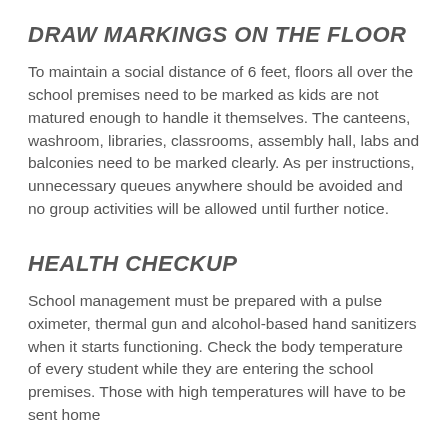DRAW MARKINGS ON THE FLOOR
To maintain a social distance of 6 feet, floors all over the school premises need to be marked as kids are not matured enough to handle it themselves. The canteens, washroom, libraries, classrooms, assembly hall, labs and balconies need to be marked clearly. As per instructions, unnecessary queues anywhere should be avoided and no group activities will be allowed until further notice.
HEALTH CHECKUP
School management must be prepared with a pulse oximeter, thermal gun and alcohol-based hand sanitizers when it starts functioning. Check the body temperature of every student while they are entering the school premises. Those with high temperatures will have to be sent home